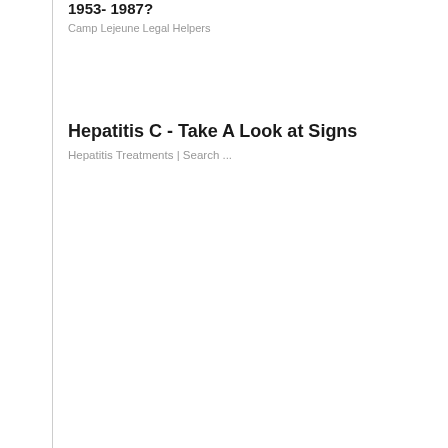1953- 1987?
Camp Lejeune Legal Helpers
Hepatitis C - Take A Look at Signs
Hepatitis Treatments | Search ...